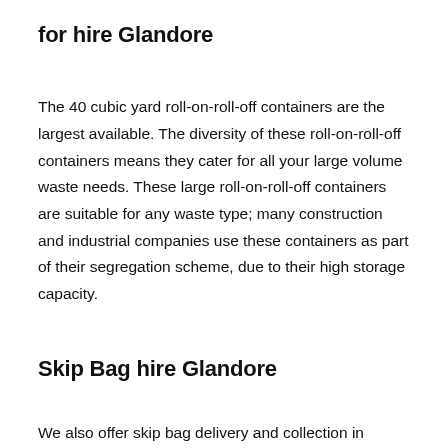for hire Glandore
The 40 cubic yard roll-on-roll-off containers are the largest available. The diversity of these roll-on-roll-off containers means they cater for all your large volume waste needs. These large roll-on-roll-off containers are suitable for any waste type; many construction and industrial companies use these containers as part of their segregation scheme, due to their high storage capacity.
Skip Bag hire Glandore
We also offer skip bag delivery and collection in